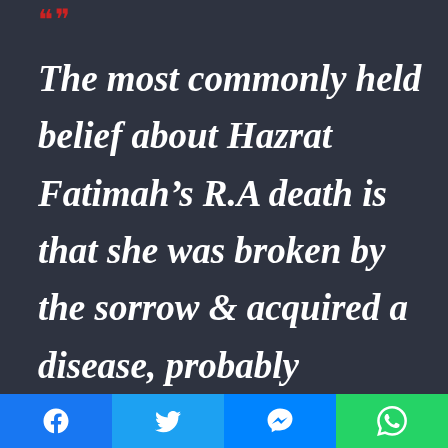“”
The most commonly held belief about Hazrat Fatimah’s R.A death is that she was broken by the sorrow & acquired a disease, probably